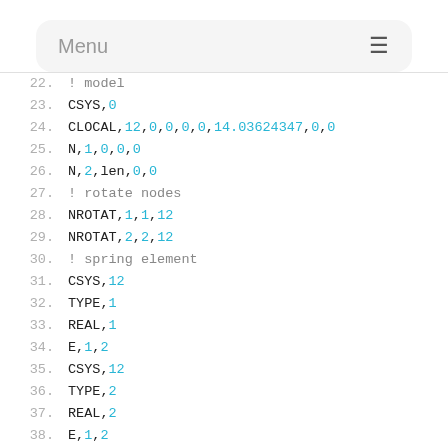Menu
22.    ! model
23.    CSYS,0
24.    CLOCAL,12,0,0,0,0,14.03624347,0,0
25.    N,1,0,0,0
26.    N,2,len,0,0
27.    ! rotate nodes
28.    NROTAT,1,1,12
29.    NROTAT,2,2,12
30.    ! spring element
31.    CSYS,12
32.    TYPE,1
33.    REAL,1
34.    E,1,2
35.    CSYS,12
36.    TYPE,2
37.    REAL,2
38.    E,1,2
39.    
40.    
41.    /SOLU
42.    ! fixed end
43.    CSYS,12
44.    ALLSEL,ALL
45.    ...